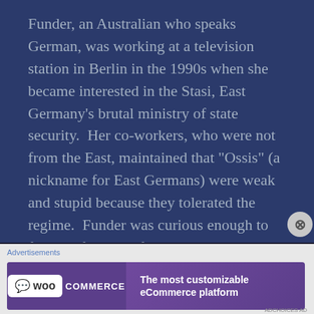Funder, an Australian who speaks German, was working at a television station in Berlin in the 1990s when she became interested in the Stasi, East Germany's brutal ministry of state security.  Her co-workers, who were not from the East, maintained that “Ossis” (a nickname for East Germans) were weak and stupid because they tolerated the regime.  Funder was curious enough to find out for herself what happened.  She placed an ad in a newspaper, asking for members of the defunct Stasi to
Advertisements
[Figure (other): WooCommerce advertisement banner: purple gradient background, WooCommerce logo on left, tagline 'The most customizable eCommerce platform' on right]